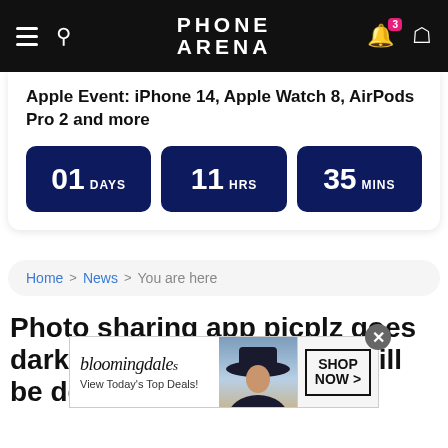PhoneArena - navigation bar with hamburger menu, search, logo, notification bell (3), and user icon
Apple Event: iPhone 14, Apple Watch 8, AirPods Pro 2 and more
01 DAYS  11 HRS  35 MINS
Home > News > You are here
Photo sharing app picplz goes dark July 3rd; all pictures will be dele...
[Figure (screenshot): Bloomingdale's advertisement overlay: brand name in cursive, 'View Today's Top Deals!' text, woman in hat image, 'SHOP NOW >' button in bordered box]